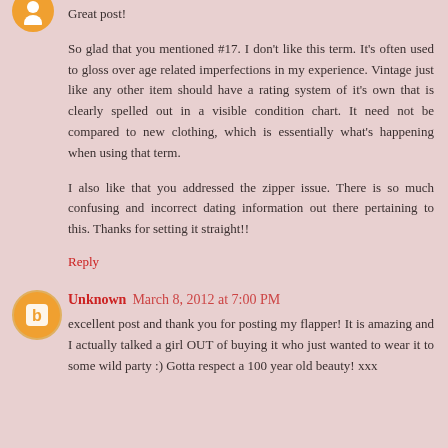Great post!
So glad that you mentioned #17. I don't like this term. It's often used to gloss over age related imperfections in my experience. Vintage just like any other item should have a rating system of it's own that is clearly spelled out in a visible condition chart. It need not be compared to new clothing, which is essentially what's happening when using that term.
I also like that you addressed the zipper issue. There is so much confusing and incorrect dating information out there pertaining to this. Thanks for setting it straight!!
Reply
Unknown March 8, 2012 at 7:00 PM
excellent post and thank you for posting my flapper! It is amazing and I actually talked a girl OUT of buying it who just wanted to wear it to some wild party :) Gotta respect a 100 year old beauty! xxx